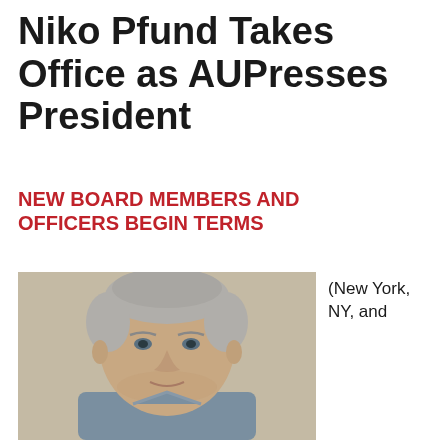Niko Pfund Takes Office as AUPresses President
NEW BOARD MEMBERS AND OFFICERS BEGIN TERMS
[Figure (photo): Headshot of a middle-aged man with short grey hair wearing a blue/grey striped shirt, photographed in front of a concrete wall.]
(New York, NY, and